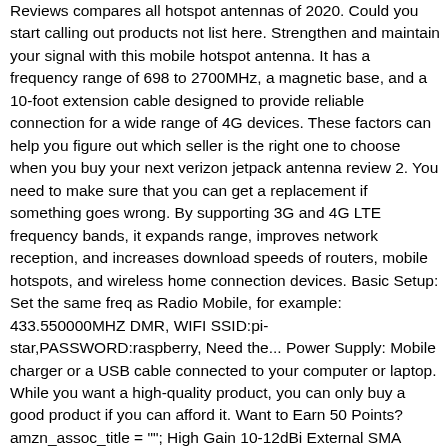Reviews compares all hotspot antennas of 2020. Could you start calling out products not list here. Strengthen and maintain your signal with this mobile hotspot antenna. It has a frequency range of 698 to 2700MHz, a magnetic base, and a 10-foot extension cable designed to provide reliable connection for a wide range of 4G devices. These factors can help you figure out which seller is the right one to choose when you buy your next verizon jetpack antenna review 2. You need to make sure that you can get a replacement if something goes wrong. By supporting 3G and 4G LTE frequency bands, it expands range, improves network reception, and increases download speeds of routers, mobile hotspots, and wireless home connection devices. Basic Setup: Set the same freq as Radio Mobile, for example: 433.550000MHZ DMR, WIFI SSID:pi-star,PASSWORD:raspberry, Need the... Power Supply: Mobile charger or a USB cable connected to your computer or laptop. While you want a high-quality product, you can only buy a good product if you can afford it. Want to Earn 50 Points? amzn_assoc_title = ""; High Gain 10-12dBi External SMA Male/Dual TS9 3G 4G LTE Bracket Mount Signal... Bingfu 4G LTE Antenna 6dBi Magnetic Base MIMO TS9 Antenna Compatible with... Duplex MMDVM Hotspot Radio Station P25 DMR Hotspot Antenna WiFi Digital Voice... Innotic 4G TS9 Antenna Mobile Hotspot Signal Booster Apply to Nighthawk M1 4G... Wilson Electronics Wideband Directional Antenna 700-2700 MHz, 50 Ohm (314411). amzn_assoc_marketplace = "amazon"; Usable indoors or outdoors.